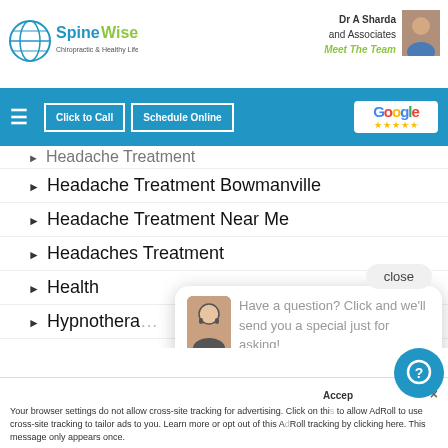[Figure (screenshot): SpineWise chiropractic website screenshot showing navigation header with logo, doctor info, nav bar, and list of treatment topics with chat popup overlay]
SpineWise - Dr A Sharda and Associates - Meet The Team
Headache Treatment
Headache Treatment Bowmanville
Headache Treatment Near Me
Headaches Treatment
Health
Hypnotherapy
In-home services
Irritable bowel disease
Have a question? Click and we'll send you a special just for asking!
Your browser settings do not allow cross-site tracking for advertising. Click on this to allow AdRoll to use cross-site tracking to tailor ads to you. Learn more or opt out of this AdRoll tracking by clicking here. This message only appears once.